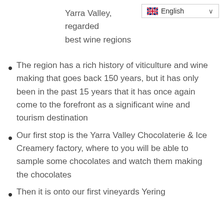Yarra Valley, regarded best wine regions
The region has a rich history of viticulture and wine making that goes back 150 years, but it has only been in the past 15 years that it has once again come to the forefront as a significant wine and tourism destination
Our first stop is the Yarra Valley Chocolaterie & Ice Creamery factory, where to you will be able to sample some chocolates and watch them making the chocolates
Then it is onto our first vineyards Yering